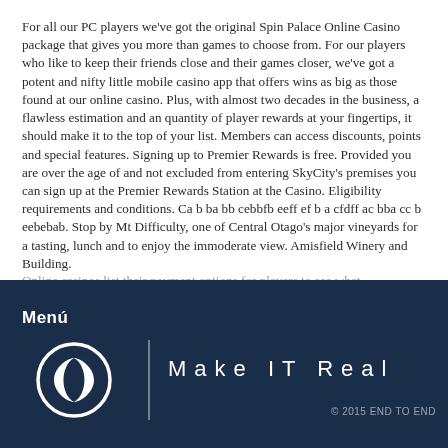For all our PC players we've got the original Spin Palace Online Casino package that gives you more than games to choose from. For our players who like to keep their friends close and their games closer, we've got a potent and nifty little mobile casino app that offers wins as big as those found at our online casino. Plus, with almost two decades in the business, a flawless estimation and an quantity of player rewards at your fingertips, it should make it to the top of your list. Members can access discounts, points and special features. Signing up to Premier Rewards is free. Provided you are over the age of and not excluded from entering SkyCity's premises you can sign up at the Premier Rewards Station at the Casino. Eligibility requirements and conditions. Ca b ba bb cebbfb eeff ef b a cfdff ac bba cc b eebebab. Stop by Mt Difficulty, one of Central Otago's major vineyards for a tasting, lunch and to enjoy the immoderate view. Amisfield Winery and Building.
Online casinos list their payment options for players to see what
Menú  Make IT Real  © 2015 END TO END